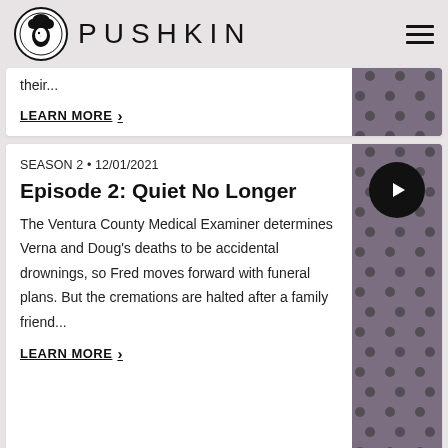PUSHKIN
their...
LEARN MORE >
SEASON 2 • 12/01/2021
Episode 2: Quiet No Longer
The Ventura County Medical Examiner determines Verna and Doug's deaths to be accidental drownings, so Fred moves forward with funeral plans. But the cremations are halted after a family friend...
LEARN MORE >